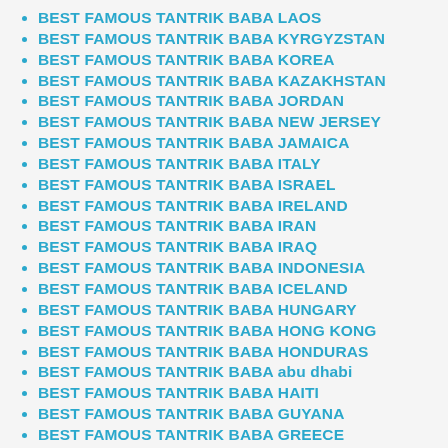BEST FAMOUS TANTRIK BABA LAOS
BEST FAMOUS TANTRIK BABA KYRGYZSTAN
BEST FAMOUS TANTRIK BABA KOREA
BEST FAMOUS TANTRIK BABA KAZAKHSTAN
BEST FAMOUS TANTRIK BABA JORDAN
BEST FAMOUS TANTRIK BABA NEW JERSEY
BEST FAMOUS TANTRIK BABA JAMAICA
BEST FAMOUS TANTRIK BABA ITALY
BEST FAMOUS TANTRIK BABA ISRAEL
BEST FAMOUS TANTRIK BABA IRELAND
BEST FAMOUS TANTRIK BABA IRAN
BEST FAMOUS TANTRIK BABA IRAQ
BEST FAMOUS TANTRIK BABA INDONESIA
BEST FAMOUS TANTRIK BABA ICELAND
BEST FAMOUS TANTRIK BABA HUNGARY
BEST FAMOUS TANTRIK BABA HONG KONG
BEST FAMOUS TANTRIK BABA HONDURAS
BEST FAMOUS TANTRIK BABA abu dhabi
BEST FAMOUS TANTRIK BABA HAITI
BEST FAMOUS TANTRIK BABA GUYANA
BEST FAMOUS TANTRIK BABA GREECE
BEST FAMOUS TANTRIK BABA GRENADA
BEST FAMOUS TANTRIK BABA GIBRALTAR